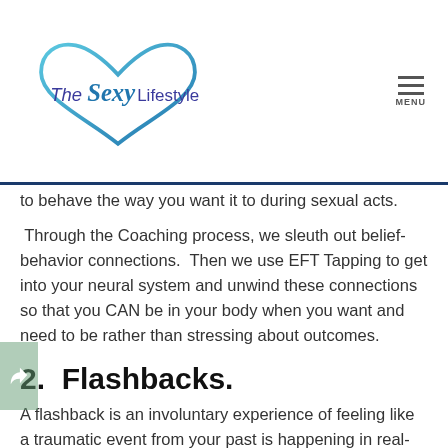The Sexy Lifestyle [logo with heart]
to behave the way you want it to during sexual acts.
Through the Coaching process, we sleuth out belief-behavior connections.  Then we use EFT Tapping to get into your neural system and unwind these connections so that you CAN be in your body when you want and need to be rather than stressing about outcomes.
2.  Flashbacks.
A flashback is an involuntary experience of feeling like a traumatic event from your past is happening in real-time.  Sex is powerful on many levels beyond the physical. For this reason, sex can stir up memories and emotions that can really unsettle you. This is especially true if you have a past that includes sexual trauma